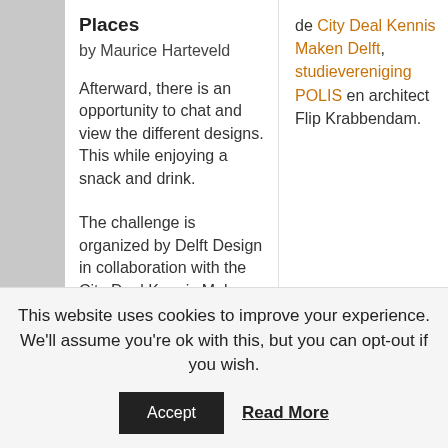Places
by Maurice Harteveld
Afterward, there is an opportunity to chat and view the different designs. This while enjoying a snack and drink.
The challenge is organized by Delft Design in collaboration with the City Deal Kennis Maken Delft, study association POLIS
de City Deal Kennis Maken Delft, studievereniging POLIS en architect Flip Krabbendam.
This website uses cookies to improve your experience. We'll assume you're ok with this, but you can opt-out if you wish.
Accept
Read More